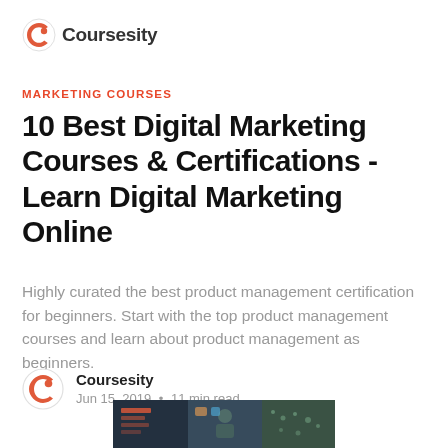Coursesity
MARKETING COURSES
10 Best Digital Marketing Courses & Certifications - Learn Digital Marketing Online
Highly curated the best product management certification for beginners. Start with the top product management courses and learn about product management as beginners.
Coursesity
Jun 15, 2019 • 11 min read
[Figure (photo): Thumbnail image showing digital marketing course imagery with icons and world map]